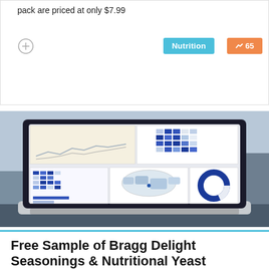pack are priced at only $7.99
[Figure (photo): Laptop computer open on a dark surface displaying a data analytics dashboard with charts, maps, and a donut chart on screen, with a blurred sofa visible in the background.]
Free Sample of Bragg Delight Seasonings & Nutritional Yeast